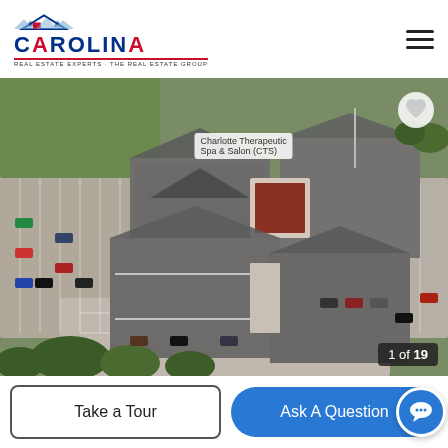[Figure (logo): Carolina Real Estate Experts logo with roof/house icon, blue and red text]
[Figure (photo): Aerial satellite view of a commercial office complex with multiple buildings, gray roofs, parking lots, and greenery. Label overlay reads 'Charlotte Therapeutic Spa & Salon (CTS)'. Counter shows '1 of 19'.]
Take a Tour
Ask A Question